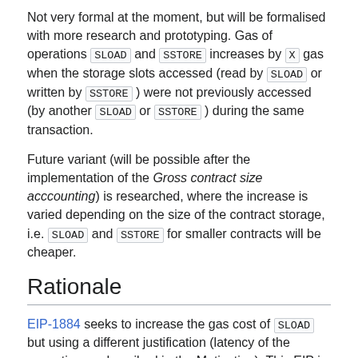Not very formal at the moment, but will be formalised with more research and prototyping. Gas of operations SLOAD and SSTORE increases by X gas when the storage slots accessed (read by SLOAD or written by SSTORE) were not previously accessed (by another SLOAD or SSTORE) during the same transaction.
Future variant (will be possible after the implementation of the Gross contract size acccounting) is researched, where the increase is varied depending on the size of the contract storage, i.e. SLOAD and SSTORE for smaller contracts will be cheaper.
Rationale
EIP-1884 seeks to increase the gas cost of SLOAD but using a different justification (latency of the execution as described in the Motivation). This EIP is likely to increase the cost of SLOAD by a larger amount, therefore partially